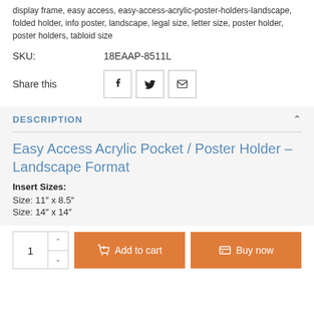display frame, easy access, easy-access-acrylic-poster-holders-landscape, folded holder, info poster, landscape, legal size, letter size, poster holder, poster holders, tabloid size
SKU: 18EAAP-8511L
Share this
DESCRIPTION
Easy Access Acrylic Pocket / Poster Holder – Landscape Format
Insert Sizes:
Size: 11″ x 8.5″
Size: 14″ x 14″